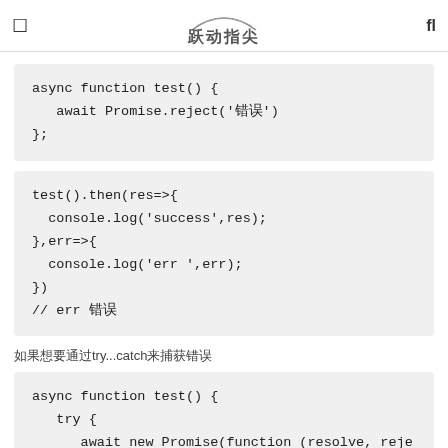跃动指尖
async function test() {
   await Promise.reject('错误')
};
test().then(res=>{
  console.log('success',res);
},err=>{
  console.log('err ',err);
})
// err 错误
如果想要通过try...catch来捕获错误
async function test() {
   try {
      await new Promise(function (resolve, reje